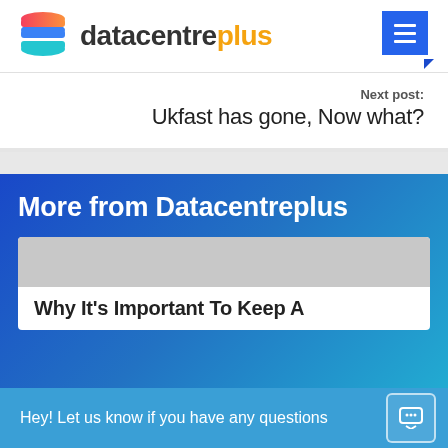datacentreplus
Next post: Ukfast has gone, Now what?
More from Datacentreplus
Why It's Important To Keep A
Hey! Let us know if you have any questions